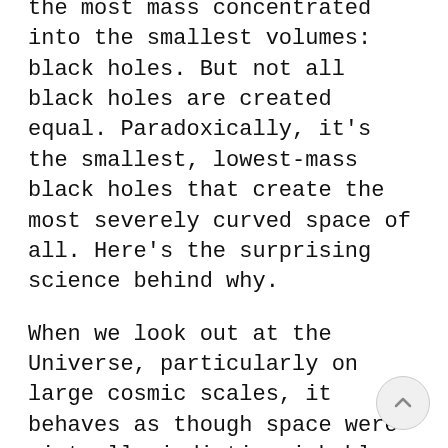You'd pick the locations where you had the most mass concentrated into the smallest volumes: black holes. But not all black holes are created equal. Paradoxically, it's the smallest, lowest-mass black holes that create the most severely curved space of all. Here's the surprising science behind why.
When we look out at the Universe, particularly on large cosmic scales, it behaves as though space were virtually indistinguishable from flat. Masses curve space, and that curved space deflects light, but the amount of deflection is minuscule even for the most concentrated amounts of mass we know of.